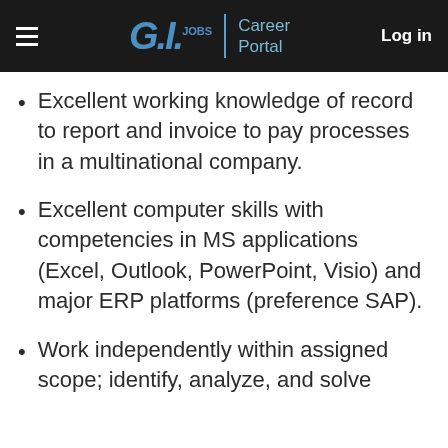G.I.JOBS | Career Portal   Log in
Excellent working knowledge of record to report and invoice to pay processes in a multinational company.
Excellent computer skills with competencies in MS applications (Excel, Outlook, PowerPoint, Visio) and major ERP platforms (preference SAP).
Work independently within assigned scope; identify, analyze, and solve